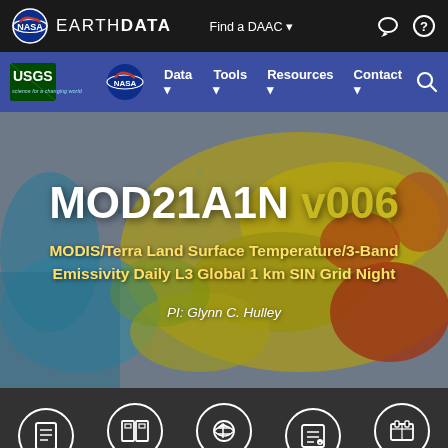NASA EARTHDATA  Find a DAAC
[Figure (screenshot): USGS and NASA Earthdata navigation bar with USGS logo, Tools, Resources, Contact, and Search]
[Figure (photo): MODIS Land Surface Temperature satellite image showing heat patterns in yellow, red, and teal colors as page hero background]
MOD21A1N v006
MODIS/Terra Land Surface Temperature/3-Band Emissivity Daily L3 Global 1 km SIN Grid Night
PI: Glynn C. Hulley
[Figure (infographic): Five circular icon buttons: DOCUMENTATION, USING THE DATA, ACCESS DATA, CITATION, RELATED PRODUCTS]